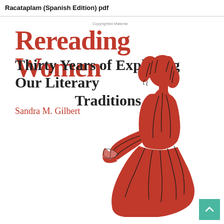Racataplam (Spanish Edition) pdf
[Figure (illustration): Book cover of 'Rereading Women: Thirty Years of Exploring Our Literary Traditions' by Sandra M. Gilbert. Features a red silhouette of a woman in Victorian-era dress reading a book, with black line details showing hair and clothing texture. The title 'Rereading Women' is in large red serif font, subtitle in dark serif font, and author name in red serif font. A 'Copyrighted Material' watermark appears near the top center.]